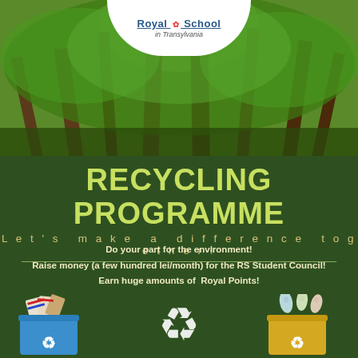[Figure (photo): Looking up through forest canopy with tall trees and green foliage, background image]
[Figure (logo): Royal School in Transylvania logo in white oval at top center, with decorative emblem]
RECYCLING PROGRAMME
Let's make a difference together!
Do your part for the environment!
Raise money (a few hundred lei/month) for the RS Student Council!
Earn huge amounts of Royal Points!
[Figure (illustration): Blue recycling bin with paper/cardboard items on left, white recycling symbol in center, yellow recycling bin with plastic bottles on right]